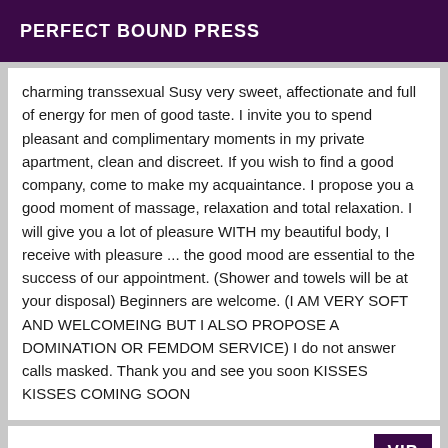PERFECT BOUND PRESS
charming transsexual Susy very sweet, affectionate and full of energy for men of good taste. I invite you to spend pleasant and complimentary moments in my private apartment, clean and discreet. If you wish to find a good company, come to make my acquaintance. I propose you a good moment of massage, relaxation and total relaxation. I will give you a lot of pleasure WITH my beautiful body, I receive with pleasure ... the good mood are essential to the success of our appointment. (Shower and towels will be at your disposal) Beginners are welcome. (I AM VERY SOFT AND WELCOMEING BUT I ALSO PROPOSE A DOMINATION OR FEMDOM SERVICE) I do not answer calls masked. Thank you and see you soon KISSES KISSES COMING SOON
VIP